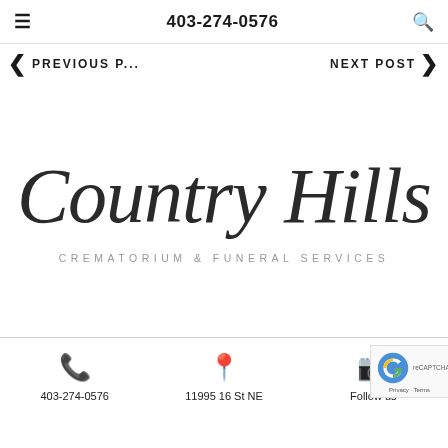403-274-0576
PREVIOUS P... NEXT POST
[Figure (logo): Country Hills Crematorium & Funeral Services logo in cursive/script font]
403-274-0576  11995 16 St NE  Follow us